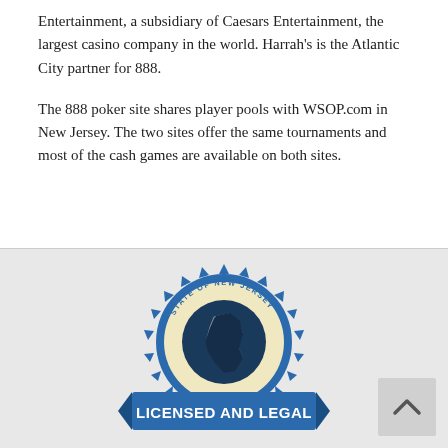Entertainment, a subsidiary of Caesars Entertainment, the largest casino company in the world. Harrah's is the Atlantic City partner for 888.
The 888 poker site shares player pools with WSOP.com in New Jersey. The two sites offer the same tournaments and most of the cash games are available on both sites.
[Figure (illustration): A circular badge/seal with 'STATE OF NEW JERSEY' text around the top arc, a silhouette of the state of New Jersey in dark blue in the center on a cream/yellow background, surrounded by a blue serrated/sunburst border. A blue ribbon banner across the bottom reads 'LICENSED AND LEGAL' in bold white text.]